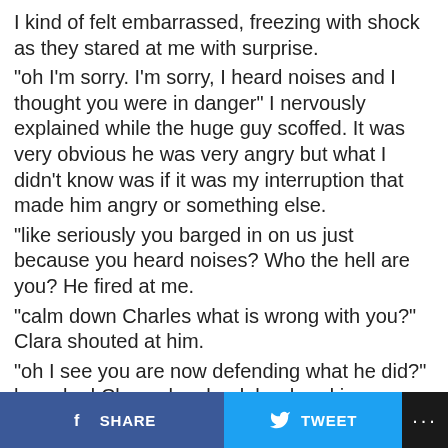I kind of felt embarrassed, freezing with shock as they stared at me with surprise. "oh I'm sorry. I'm sorry, I heard noises and I thought you were in danger" I nervously explained while the huge guy scoffed. It was very obvious he was very angry but what I didn't know was if it was my interruption that made him angry or something else. "like seriously you barged in on us just because you heard noises? Who the hell are you? He fired at me. "calm down Charles what is wrong with you?" Clara shouted at him. "oh I see you are now defending what he did?" he asked Clara who shook her head in anger. "you know what, you can leave now. I'm tired of talking to you, we will see on Thursday" she said to him angrily while he stared at her with disbelief. I simply watched the drama with a little smile on my face. I couldn't help but
SHARE   TWEET   ...